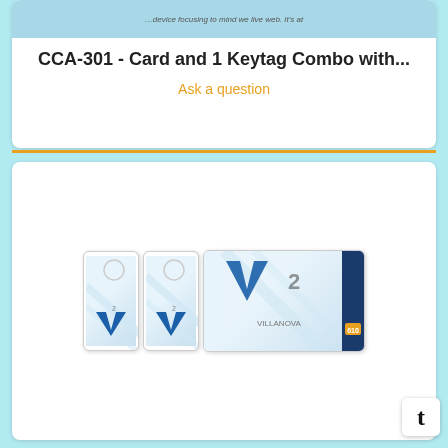[Figure (photo): Partial product card image at top, showing a blurred/cropped Villanova basketball card product]
CCA-301 - Card and 1 Keytag Combo with...
Ask a question
[Figure (photo): Product photo showing two tall Villanova Basketball keytag cards and one wide credit-card-sized card, all featuring Villanova Women's Basketball player #2 imagery with the Villanova V logo in blue, diagonal stripe design, and a dark blue sidebar with text including VILLANOVA BASKETBALL WOMEN'S BASKETBALL and 610 logo]